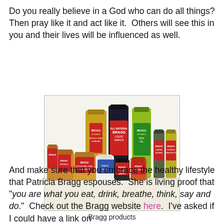Do you really believe in a God who can do all things?  Then pray like it and act like it.  Others will see this in you and their lives will be influenced as well.
[Figure (photo): Collection of Bragg brand health products including Apple Cider Vinegar, Liquid Aminos, Organic Olive Oil, Ginger Sesame dressing, and other Bragg products arranged on a surface.]
Bragg products
And make sure that you embrace the healthy lifestyle that Patricia Bragg espouses.  She is living proof that "you are what you eat, drink, breathe, think, say and do."  Check out the Bragg website here.  I've asked if I could have a link on